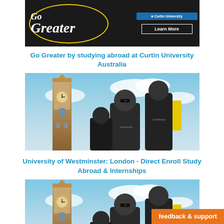[Figure (photo): Curtin University 'Go Greater' advertisement banner with dark background, yellow ellipse outline, and university logo with Learn More button]
Go Greater by studying abroad at Curtin University Australia
[Figure (photo): Students in front of Big Ben / Elizabeth Tower in London, wearing dark university t-shirts, blue sky background]
University of Westminster: London - Direct Enroll Study Abroad & Internships
[Figure (photo): Students in front of Big Ben / Elizabeth Tower in London, wearing dark university t-shirts, blue sky background (second instance)]
Come and Live Learn London d...